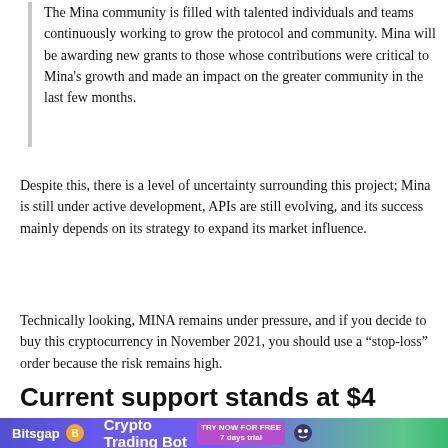The Mina community is filled with talented individuals and teams continuously working to grow the protocol and community. Mina will be awarding new grants to those whose contributions were critical to Mina's growth and made an impact on the greater community in the last few months.
Despite this, there is a level of uncertainty surrounding this project; Mina is still under active development, APIs are still evolving, and its success mainly depends on its strategy to expand its market influence.
Technically looking, MINA remains under pressure, and if you decide to buy this cryptocurrency in November 2021, you should use a “stop-loss” order because the risk remains high.
Current support stands at $4
[Figure (infographic): Bitsgap advertisement banner: purple/green gradient background with Bitsgap logo (orange B coin icon), 'Crypto Trading Bot' text, 'TRY NOW FOR FREE 7 days trial' button, and robot mascot icon on right.]